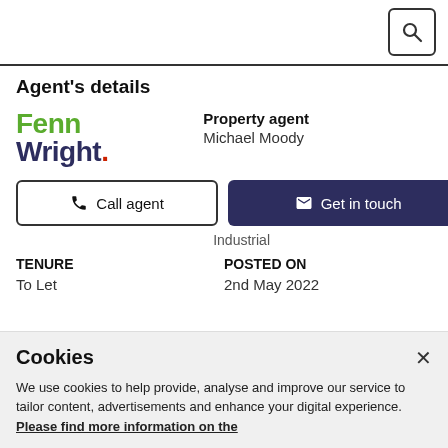Search button
Agent's details
[Figure (logo): Fenn Wright logo — 'Fenn' in green, 'Wright.' in dark navy with red dot]
Property agent
Michael Moody
Call agent
Get in touch
Industrial
TENURE
To Let
POSTED ON
2nd May 2022
Cookies
We use cookies to help provide, analyse and improve our service to tailor content, advertisements and enhance your digital experience. Please find more information on the